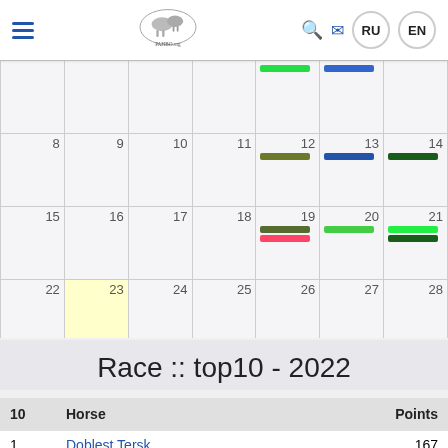РАНВО.org navigation header with hamburger menu, logo, search, mail, RU, EN
[Figure (other): Monthly calendar view showing dates 8-11 in one row, 12-14 with color event bars (green, blue, olive, dark blue, dark green), 15-21 with event bars, 22-28 with date 23 highlighted yellow, 29-31 and next month dates 1-11 with event bars]
Race :: top10 - 2022
| 10 | Horse | Points |
| --- | --- | --- |
| 1 | Doblest Tersk | 167 |